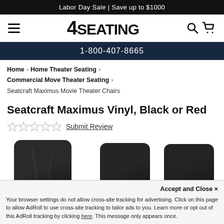Labor Day Sale | Save up to $1000
[Figure (logo): 4SEATING logo with hamburger menu on left and search/cart icons on right]
1-800-407-8665
Home > Home Theater Seating > Commercial Move Theater Seating > Seatcraft Maximus Movie Theater Chairs
Seatcraft Maximus Vinyl, Black or Red
★★★★★ Submit Review
[Figure (photo): Three black vinyl theater chair backs viewed from behind]
Accept and Close ✕
Your browser settings do not allow cross-site tracking for advertising. Click on this page to allow AdRoll to use cross-site tracking to tailor ads to you. Learn more or opt out of this AdRoll tracking by clicking here. This message only appears once.